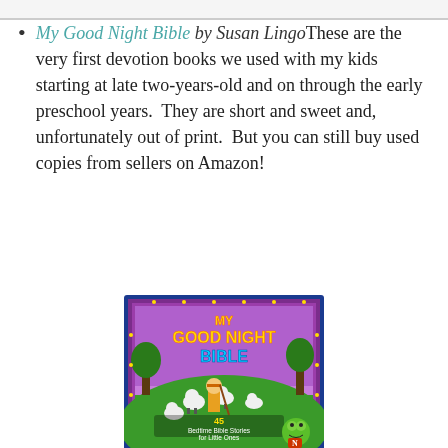My Good Night Bible by Susan LingoThese are the very first devotion books we used with my kids starting at late two-years-old and on through the early preschool years.  They are short and sweet and, unfortunately out of print.  But you can still buy used copies from sellers on Amazon!
[Figure (illustration): Book cover of 'My Good Night Bible' showing a cartoon shepherd boy with sheep on a green hill, purple sky, trees, and a cartoon lizard mascot in the corner. Subtitle: '45 Bedtime Bible Stories for Little Ones'. Published by Standard/Nedco.]